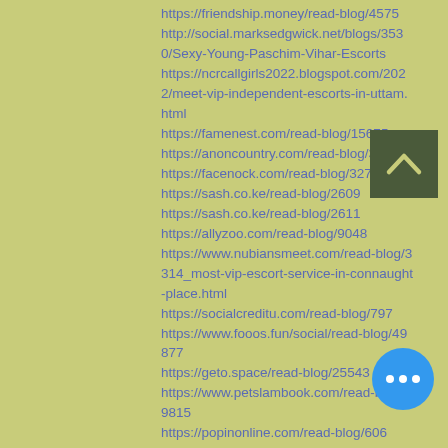https://friendship.money/read-blog/4575
http://social.marksedgwick.net/blogs/3530/Sexy-Young-Paschim-Vihar-Escorts
https://ncrcallgirls2022.blogspot.com/2022/meet-vip-independent-escorts-in-uttam.html
https://famenest.com/read-blog/15675
https://anoncountry.com/read-blog/3828
https://facenock.com/read-blog/3270
https://sash.co.ke/read-blog/2609
https://sash.co.ke/read-blog/2611
https://allyzoo.com/read-blog/9048
https://www.nubiansmeet.com/read-blog/3314_most-vip-escort-service-in-connaught-place.html
https://socialcreditu.com/read-blog/797
https://www.fooos.fun/social/read-blog/49877
https://geto.space/read-blog/25543
https://www.petslambook.com/read-blog/19815
https://popinonline.com/read-blog/6068
https://riich.me/blogs/view/15579